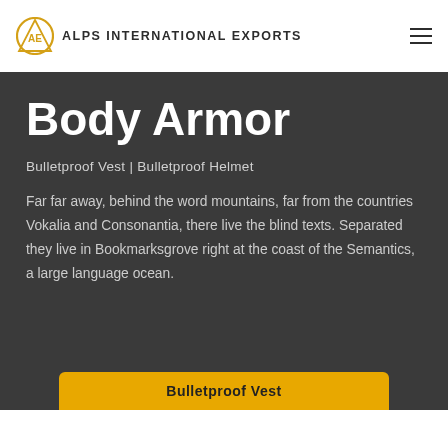ALPS INTERNATIONAL EXPORTS
Body Armor
Bulletproof Vest | Bulletproof Helmet
Far far away, behind the word mountains, far from the countries Vokalia and Consonantia, there live the blind texts. Separated they live in Bookmarksgrove right at the coast of the Semantics, a large language ocean.
Bulletproof Vest